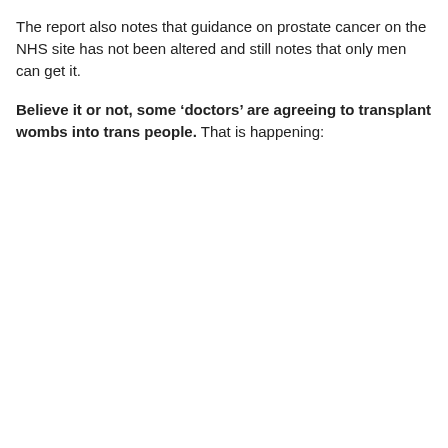The report also notes that guidance on prostate cancer on the NHS site has not been altered and still notes that only men can get it.
Believe it or not, some ‘doctors’ are agreeing to transplant wombs into trans people. That is happening: